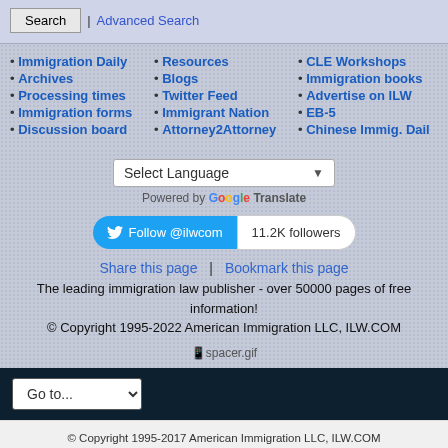Search | Advanced Search
• Immigration Daily • Archives • Processing times • Immigration forms • Discussion board
• Resources • Blogs • Twitter Feed • Immigrant Nation • Attorney2Attorney
• CLE Workshops • Immigration books • Advertise on ILW • EB-5 • Chinese Immig. Daily
[Figure (other): Select Language dropdown with Google Translate branding]
[Figure (other): Twitter Follow @ilwcom button with 11.2K followers count]
Share this page | Bookmark this page
The leading immigration law publisher - over 50000 pages of free information! © Copyright 1995-2022 American Immigration LLC, ILW.COM
[Figure (other): spacer.gif image placeholder]
Go to... dropdown navigation bar
© Copyright 1995-2017 American Immigration LLC, ILW.COM
Powered by vBulletin® Version 5.5.4
Copyright © 2022 MH Sub I, LLC dba vBulletin. All rights reserved.
All times are GMT-5. This page was generated at 01:56 PM.